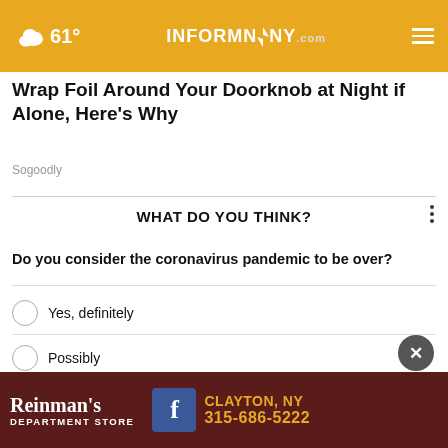61° INFORMNNY.com
Wrap Foil Around Your Doorknob at Night if Alone, Here's Why
Sogoodly
WHAT DO YOU THINK?
Do you consider the coronavirus pandemic to be over?
Yes, definitely
Possibly
No, definitely not
Other / No opinion
[Figure (other): Advertisement for Reinman's Department Store, Clayton NY, 315-686-5222 with Facebook logo]